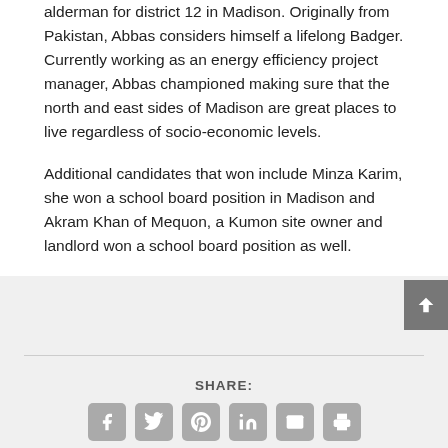alderman for district 12 in Madison. Originally from Pakistan, Abbas considers himself a lifelong Badger. Currently working as an energy efficiency project manager, Abbas championed making sure that the north and east sides of Madison are great places to live regardless of socio-economic levels.

Additional candidates that won include Minza Karim, she won a school board position in Madison and Akram Khan of Mequon, a Kumon site owner and landlord won a school board position as well.
[Figure (infographic): Social share buttons: Facebook, Twitter, Pinterest, LinkedIn, Email, Print with SHARE: label]